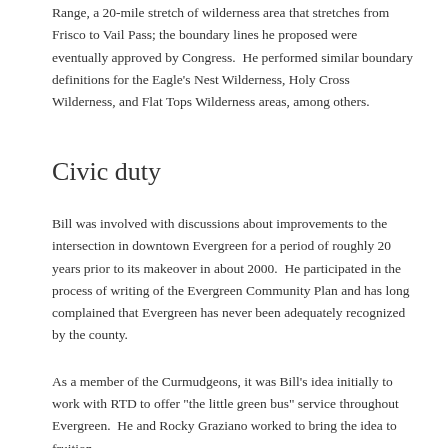Range, a 20-mile stretch of wilderness area that stretches from Frisco to Vail Pass; the boundary lines he proposed were eventually approved by Congress.  He performed similar boundary definitions for the Eagle's Nest Wilderness, Holy Cross Wilderness, and Flat Tops Wilderness areas, among others.
Civic duty
Bill was involved with discussions about improvements to the intersection in downtown Evergreen for a period of roughly 20 years prior to its makeover in about 2000.  He participated in the process of writing of the Evergreen Community Plan and has long complained that Evergreen has never been adequately recognized by the county.
As a member of the Curmudgeons, it was Bill's idea initially to work with RTD to offer "the little green bus" service throughout Evergreen.  He and Rocky Graziano worked to bring the idea to fruition.
Honors and Recognition
In 2011 Bill was honored by the Combat Infantryman's